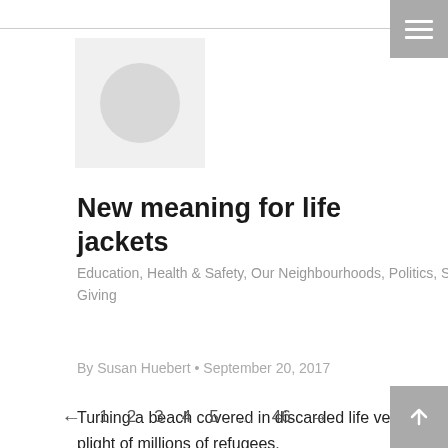[Figure (logo): Light gray square placeholder with a circular logo shape inside]
New meaning for life jackets
Education, Health & Safety, Our Neighbourhoods, Politics, Safety, Stories of Giving
By Susan Huebert • September 20, 2017
Turning a beach covered in discarded life vests into art in order to highlight the plight of millions of refugees.
← 1 2 3 4 5 … 46 →